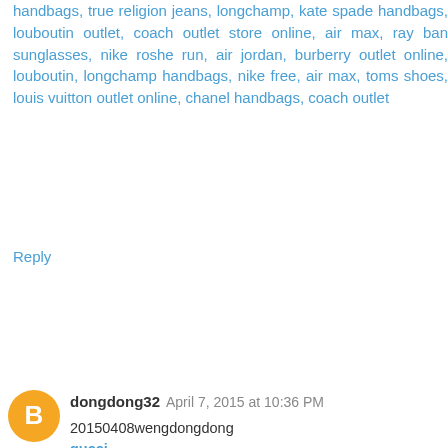handbags, true religion jeans, longchamp, kate spade handbags, louboutin outlet, coach outlet store online, air max, ray ban sunglasses, nike roshe run, air jordan, burberry outlet online, louboutin, longchamp handbags, nike free, air max, toms shoes, louis vuitton outlet online, chanel handbags, coach outlet
Reply
dongdong32 April 7, 2015 at 10:36 PM
20150408wengdongdong
gucci
michael kors outlet online
hollister co
abercrombie
true religion
lebron james shoes 2015
coach factory outlet online
burberry outlet
michael kors uk
ray ban sunglasses
michael kors outlet online